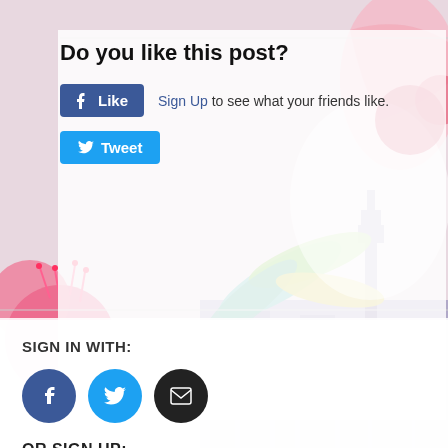[Figure (illustration): Colorful illustrated background featuring pink floral/botanical elements (eucalyptus-like blooms), tropical leaves in teal/yellow/green, and a stylized city skyline silhouette in purple/mauve tones with a communication tower. A figure with flowing pink/white hair is visible in the upper portion.]
Do you like this post?
Like  Sign Up to see what your friends like.
Tweet
SIGN IN WITH:
Facebook icon, Twitter icon, Email icon
OR SIGN UP: